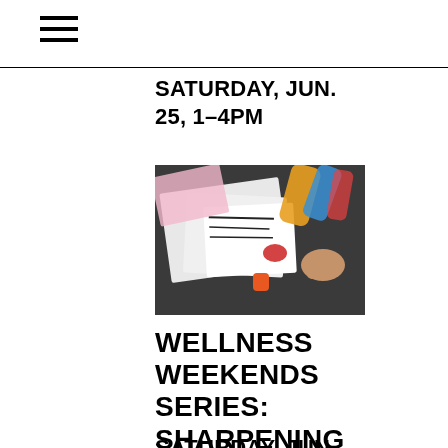≡
SATURDAY, JUN. 25, 1–4PM
[Figure (photo): Art supplies and paper cutouts on a dark table surface; a hand is visible working with black and white illustrated cutouts, an orange paint cap, and various craft materials including glue sticks and colored tubes in the background.]
WELLNESS WEEKENDS SERIES: SHARPENING THE FOCUS
SATURDAY, JUN.